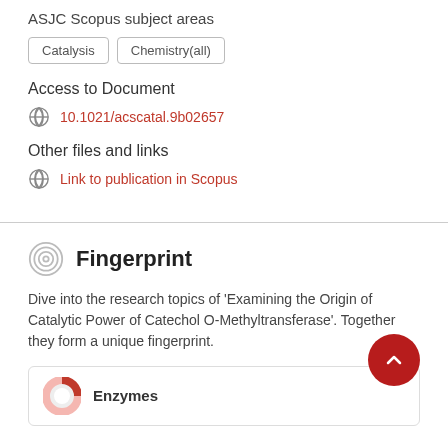ASJC Scopus subject areas
Catalysis
Chemistry(all)
Access to Document
10.1021/acscatal.9b02657
Other files and links
Link to publication in Scopus
Fingerprint
Dive into the research topics of 'Examining the Origin of Catalytic Power of Catechol O-Methyltransferase'. Together they form a unique fingerprint.
Enzymes